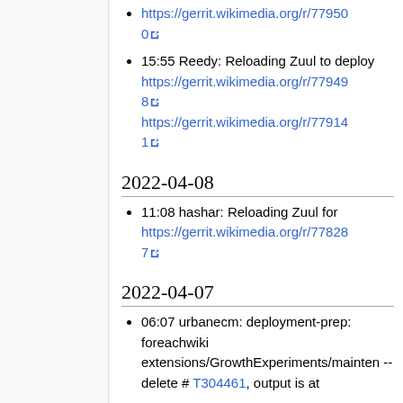https://gerrit.wikimedia.org/r/779500
15:55 Reedy: Reloading Zuul to deploy https://gerrit.wikimedia.org/r/779498 https://gerrit.wikimedia.org/r/779141
2022-04-08
11:08 hashar: Reloading Zuul for https://gerrit.wikimedia.org/r/778287
2022-04-07
06:07 urbanecm: deployment-prep: foreachwiki extensions/GrowthExperiments/mainten --delete # T304461, output is at